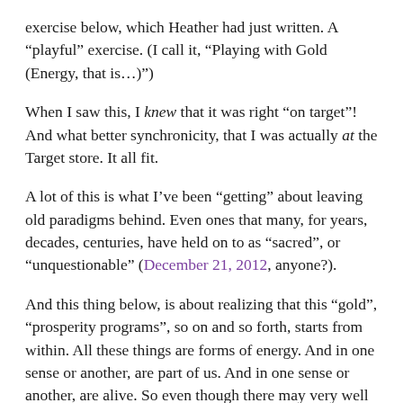exercise below, which Heather had just written. A “playful” exercise. (I call it, “Playing with Gold (Energy, that is…)”)
When I saw this, I knew that it was right “on target”! And what better synchronicity, that I was actually at the Target store. It all fit.
A lot of this is what I’ve been “getting” about leaving old paradigms behind. Even ones that many, for years, decades, centuries, have held on to as “sacred”, or “unquestionable” (December 21, 2012, anyone?).
And this thing below, is about realizing that this “gold”, “prosperity programs”, so on and so forth, starts from within. All these things are forms of energy. And in one sense or another, are part of us. And in one sense or another, are alive. So even though there may very well be lots of “prosperity programs” out there, sending out our intention and heart energy this way may have always been what these programs were waiting for… for us to say